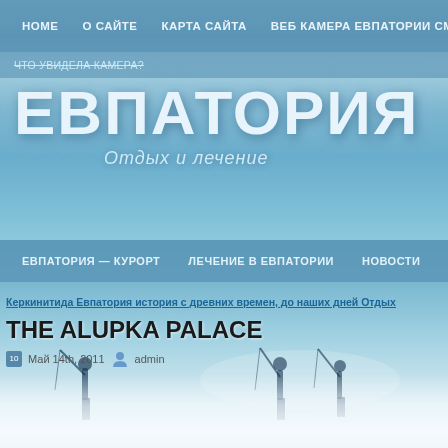[Figure (screenshot): Screenshot of a Russian-language website about Evpatoria (Евпатория) resort, showing sky and sea background with navigation menus and article title]
HOME   О САЙТЕ   КАРТА САЙТА   ВЕБ КАМЕРА ЕВПАТОРИИ СМОТР
ЧТО УВИДЕЛА КАМЕРА?
ЕВПАТОРИЯ
Отдых и лечение
ЕВПАТОРИЯ — КУРОРТ   ЛЕЧЕНИЕ В ЕВПАТОРИИ   НОВОСТИ
Керкинитида Евпатория история с древних времен, до наших дней Отдых
THE ALUPKA PALACE
Май 14th, 2011   admin